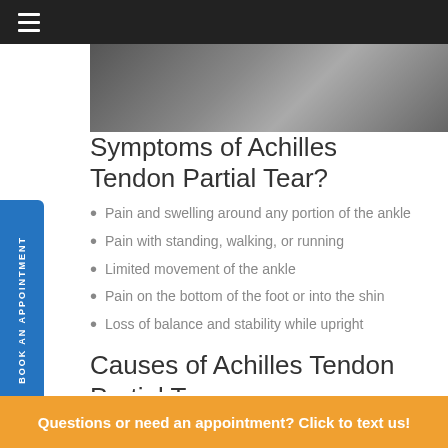[Figure (photo): Partial photograph at top of page, dark tones, appears to show a foot or ankle area]
Symptoms of Achilles Tendon Partial Tear?
Pain and swelling around any portion of the ankle
Pain with standing, walking, or running
Limited movement of the ankle
Pain on the bottom of the foot or into the shin
Loss of balance and stability while upright
Causes of Achilles Tendon Partial Tear
Achilles tendon ruptures are typically caused by a
Questions or need an appointment? Click to text us!